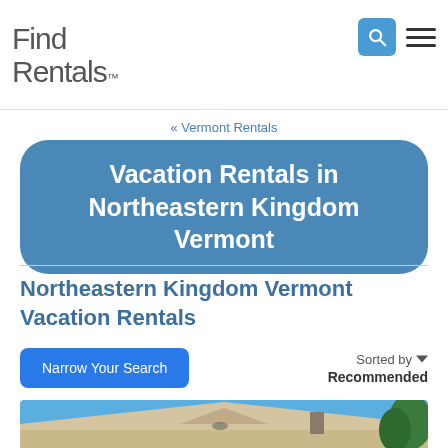Find Rentals
« Vermont Rentals
Vacation Rentals in Northeastern Kingdom Vermont
Northeastern Kingdom Vermont Vacation Rentals
Narrow Your Search
Sorted by Recommended
[Figure (photo): Exterior photo of a house with a gabled roof against a clear blue sky, with trees visible on the right side.]